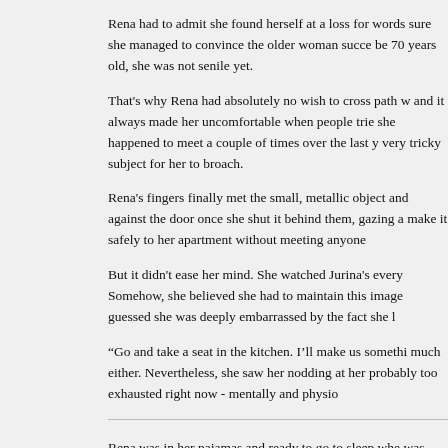Rena had to admit she found herself at a loss for words sure she managed to convince the older woman succe be 70 years old, she was not senile yet.
That's why Rena had absolutely no wish to cross path w and it always made her uncomfortable when people trie she happened to meet a couple of times over the last y very tricky subject for her to broach.
Rena's fingers finally met the small, metallic object and against the door once she shut it behind them, gazing a make it safely to her apartment without meeting anyone
But it didn't ease her mind. She watched Jurina's every Somehow, she believed she had to maintain this image guessed she was deeply embarrassed by the fact she l
“Go and take a seat in the kitchen. I’ll make us somethi much either. Nevertheless, she saw her nodding at her probably too exhausted right now - mentally and physio
Rena was in her pajamas and ready to go to sleep whe was only half distractedly reading anyway - and tried to glasses and book away and got out of bed, pushing the cheeks for the umpteenth time today.